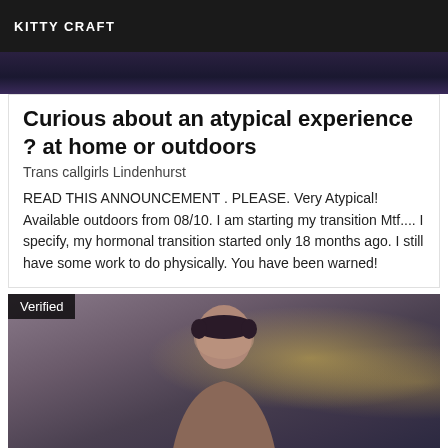KITTY CRAFT
[Figure (photo): Partial top image strip, dark purple/navy background]
Curious about an atypical experience ? at home or outdoors
Trans callgirls Lindenhurst
READ THIS ANNOUNCEMENT . PLEASE. Very Atypical! Available outdoors from 08/10. I am starting my transition Mtf.... I specify, my hormonal transition started only 18 months ago. I still have some work to do physically. You have been warned!
[Figure (photo): Photo of a person with dark hair, bokeh background with warm circular light blurs, 'Verified' badge in top-left corner]